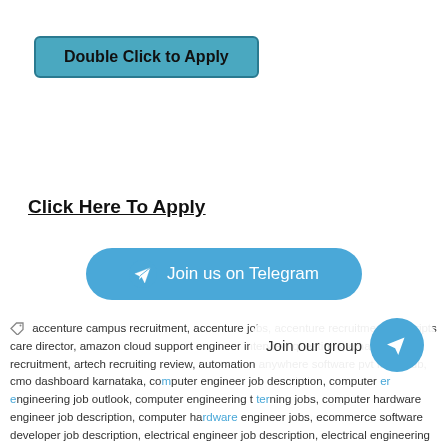[Figure (other): A teal/cyan rounded rectangle button labeled 'Double Click to Apply']
Click Here To Apply
[Figure (other): A blue rounded pill button with Telegram icon and text 'Join us on Telegram']
accenture campus recruitment, accenture jobs, accenture recruitment, allscripts care director, amazon cloud support engineer interview questions, amazon recruitment, artech recruiting review, automation anywhere software pvt ltd, cmdb, cmo dashboard karnataka, computer engineer job description, computer engineer engineering job outlook, computer engineering t tern ing jobs, computer hardware engineer job description, computer hardware engineer jobs, ecommerce software developer job description, electrical engineer job description, electrical engineering job description, electrical
[Figure (other): Overlay popup with Telegram icon circle and text 'Join our group']